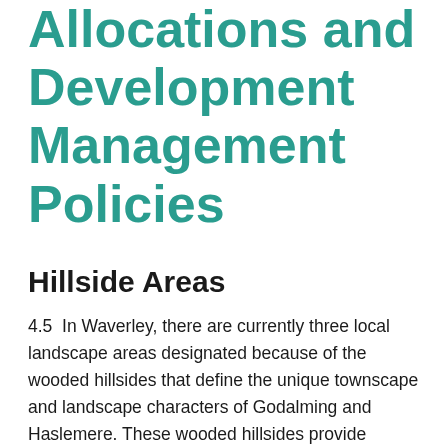Allocations and Development Management Policies
Hillside Areas
4.5  In Waverley, there are currently three local landscape areas designated because of the wooded hillsides that define the unique townscape and landscape characters of Godalming and Haslemere. These wooded hillsides provide additional environmental benefits, including supporting biodiversity through the provision of green